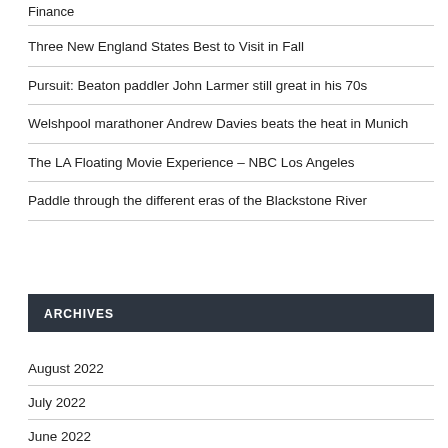Finance
Three New England States Best to Visit in Fall
Pursuit: Beaton paddler John Larmer still great in his 70s
Welshpool marathoner Andrew Davies beats the heat in Munich
The LA Floating Movie Experience – NBC Los Angeles
Paddle through the different eras of the Blackstone River
ARCHIVES
August 2022
July 2022
June 2022